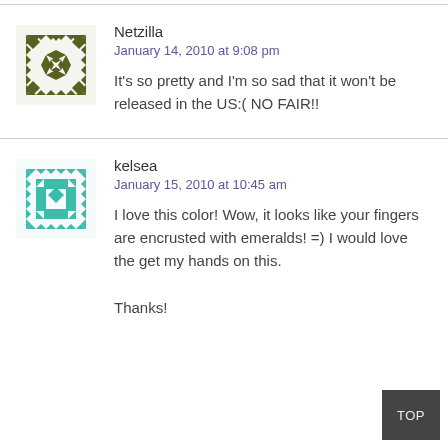[Figure (illustration): Geometric mosaic avatar in olive/dark green and white for user Netzilla]
Netzilla
January 14, 2010 at 9:08 pm
It's so pretty and I'm so sad that it won't be released in the US:( NO FAIR!!
[Figure (illustration): Geometric mosaic avatar in teal/mint green and white for user kelsea]
kelsea
January 15, 2010 at 10:45 am
I love this color! Wow, it looks like your fingers are encrusted with emeralds! =) I would love the get my hands on this.

Thanks!